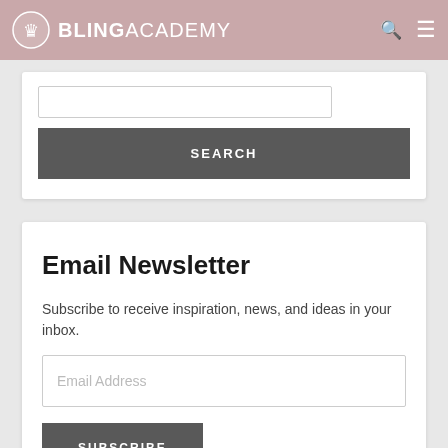BlingAcademy
[Figure (screenshot): Search input box with Search button]
Email Newsletter
Subscribe to receive inspiration, news, and ideas in your inbox.
[Figure (screenshot): Email Address input field]
SUBSCRIBE